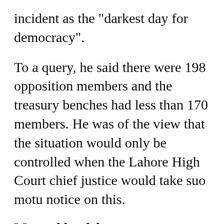incident as the "darkest day for democracy".
To a query, he said there were 198 opposition members and the treasury benches had less than 170 members. He was of the view that the situation would only be controlled when the Lahore High Court chief justice would take suo motu notice on this.
Marred by delays
The Punjab Assembly, which was summoned on Saturday to elect the